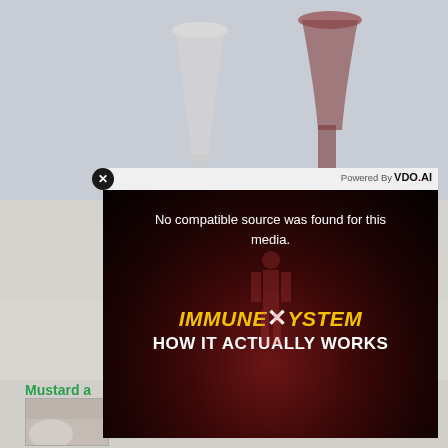[Figure (photo): Blurred dinner table setting with wine glasses, plates, and cutlery in soft focus]
[Figure (screenshot): Video player popup overlay with black background, showing 'No compatible source was found for this media.' message and immune system video thumbnail with text 'IMMUNE SYSTEM HOW IT ACTUALLY WORKS'. Header bar shows close (X) button and 'Powered By VDO.AI' branding.]
Mustard a
[Figure (photo): Small thumbnail image at bottom left]